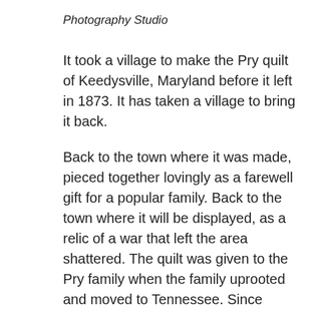Photography Studio
It took a village to make the Pry quilt of Keedysville, Maryland before it left in 1873. It has taken a village to bring it back.
Back to the town where it was made, pieced together lovingly as a farewell gift for a popular family. Back to the town where it will be displayed, as a relic of a war that left the area shattered. The quilt was given to the Pry family when the family uprooted and moved to Tennessee. Since then, it has had a circuitous journey back to its new permanent home in Keedysville...